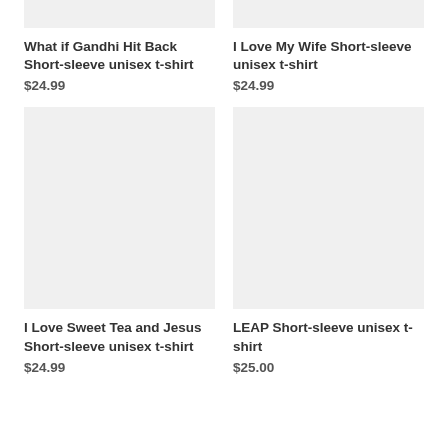[Figure (photo): Product image placeholder for What if Gandhi Hit Back Short-sleeve unisex t-shirt (light gray background, top cropped)]
What if Gandhi Hit Back Short-sleeve unisex t-shirt
$24.99
[Figure (photo): Product image placeholder for I Love My Wife Short-sleeve unisex t-shirt (light gray background, top cropped)]
I Love My Wife Short-sleeve unisex t-shirt
$24.99
[Figure (photo): Product image placeholder for I Love Sweet Tea and Jesus Short-sleeve unisex t-shirt (light gray background)]
I Love Sweet Tea and Jesus Short-sleeve unisex t-shirt
$24.99
[Figure (photo): Product image placeholder for LEAP Short-sleeve unisex t-shirt (light gray background)]
LEAP Short-sleeve unisex t-shirt
$25.00